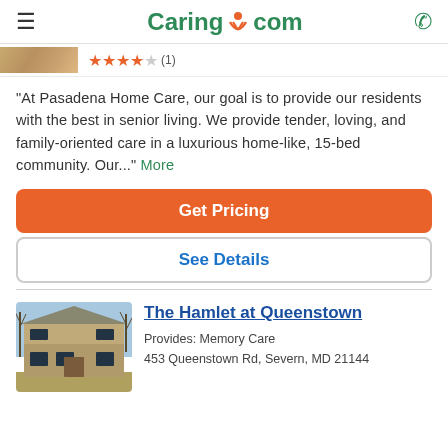Caring.com
[Figure (screenshot): Partial listing image with star ratings (4 stars, 1 review)]
"At Pasadena Home Care, our goal is to provide our residents with the best in senior living. We provide tender, loving, and family-oriented care in a luxurious home-like, 15-bed community. Our..." More
Get Pricing
See Details
The Hamlet at Queenstown
Provides: Memory Care
453 Queenstown Rd, Severn, MD 21144
[Figure (photo): Photo of The Hamlet at Queenstown, a two-story brick house with bare trees in the background]